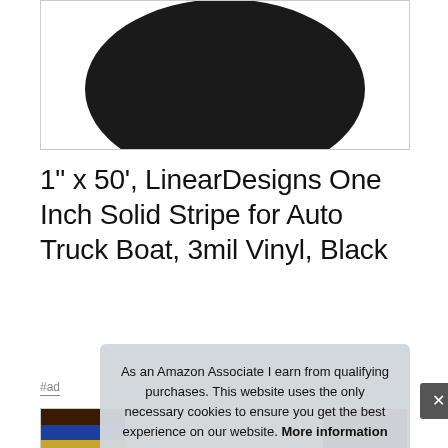[Figure (photo): Black cylindrical roll of vinyl tape/stripe product photographed from slightly above, showing the top and side of the roll, on white background with light gray border]
1" x 50', LinearDesigns One Inch Solid Stripe for Auto Truck Boat, 3mil Vinyl, Black
#ad
[Figure (photo): Row of four product thumbnail images showing vinyl stripe rolls in various colors including multi-colored stripes (blue, gold, red, white) and solid dark red rolls]
As an Amazon Associate I earn from qualifying purchases. This website uses the only necessary cookies to ensure you get the best experience on our website. More information